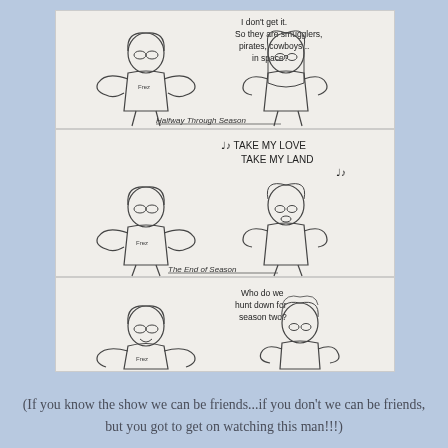[Figure (illustration): A hand-drawn comic strip with three panels showing two characters (one with glasses and a 'Frez' shirt, one with long hair) reacting to TV seasons. Panel 1 labeled 'Halfway Through Season' shows character confused saying 'I don't get it. So they are smugglers, pirates, cowboys... in space?' Panel 2 labeled 'The End of Season' shows characters singing 'TAKE MY LOVE, TAKE MY LAND'. Panel 3 shows character asking 'Who do we hunt down for season two?']
(If you know the show we can be friends...if you don't we can be friends, but you got to get on watching this man!!!)